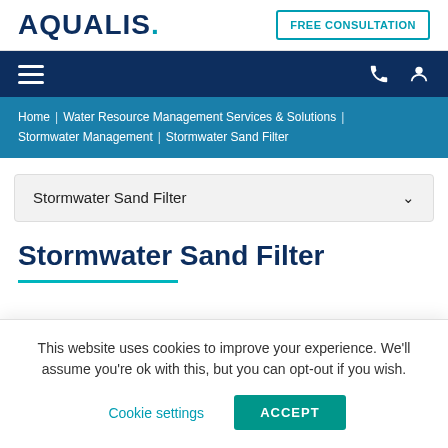AQUALIS
FREE CONSULTATION
Home | Water Resource Management Services & Solutions | Stormwater Management | Stormwater Sand Filter
Stormwater Sand Filter
Stormwater Sand Filter
This website uses cookies to improve your experience. We'll assume you're ok with this, but you can opt-out if you wish.
Cookie settings  ACCEPT